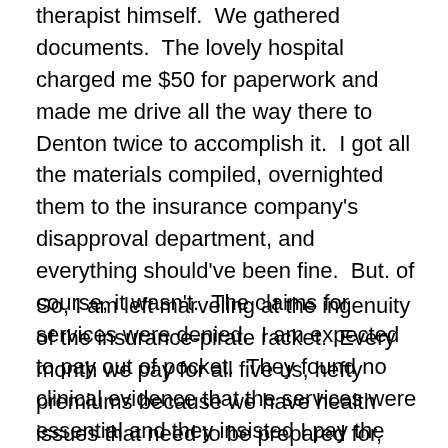therapist himself.  We gathered documents.  The lovely hospital charged me $50 for paperwork and made me drive all the way there to Denton twice to accomplish it.  I got all the materials compiled, overnighted them to the insurance company's disapproval department, and everything should've been fine.  But. of course, it wasn't.  The claims for services were denied.  I am expected to pay out of pocket.  They found no clinical evidence that the services were essential and they insisted I pay the bills without help from them.
So, I am left marveling at the ingenuity of the insurance-pirate racket.  Every month we pay for all five us, hefty premiums because we have health issues that need to be prepared for, and when the problems arise, and we ask them to pay their promised share…  we have issues, and